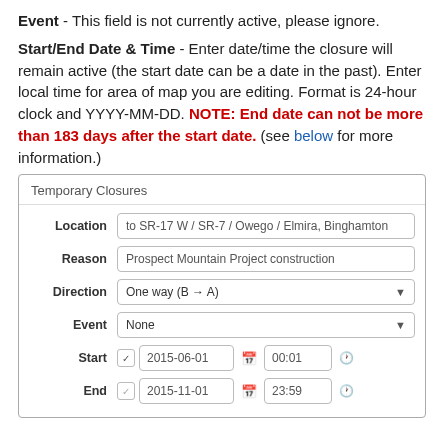Event - This field is not currently active, please ignore.
Start/End Date & Time - Enter date/time the closure will remain active (the start date can be a date in the past). Enter local time for area of map you are editing. Format is 24-hour clock and YYYY-MM-DD. NOTE: End date can not be more than 183 days after the start date. (see below for more information.)
[Figure (screenshot): Screenshot of a Temporary Closures form showing fields: Location (to SR-17 W / SR-7 / Owego / Elmira, Binghamton), Reason (Prospect Mountain Project construction), Direction (One way B→A), Event (None), Start (2015-06-01, 00:01), End (2015-11-01, 23:59)]